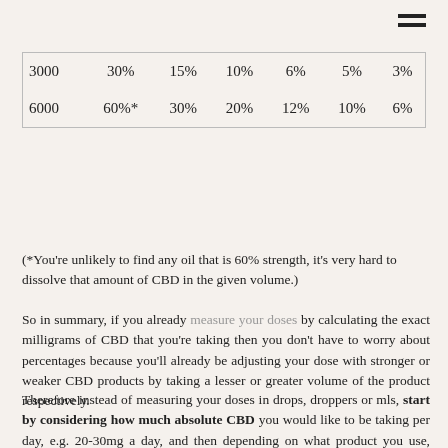| 3000 | 30% | 15% | 10% | 6% | 5% | 3% |
| 6000 | 60%* | 30% | 20% | 12% | 10% | 6% |
(*You're unlikely to find any oil that is 60% strength, it's very hard to dissolve that amount of CBD in the given volume.)
So in summary, if you already measure your doses by calculating the exact milligrams of CBD that you're taking then you don't have to worry about percentages because you'll already be adjusting your dose with stronger or weaker CBD products by taking a lesser or greater volume of the product respectively.
Therefore instead of measuring your doses in drops, droppers or mls, start by considering how much absolute CBD you would like to be taking per day, e.g. 20-30mg a day, and then depending on what product you use, adjust accordingly.